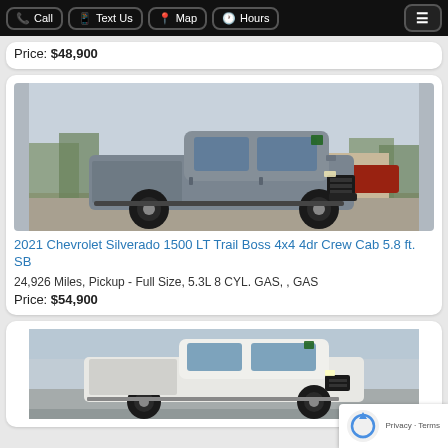Call | Text Us | Map | Hours | Menu
Price: $48,900
[Figure (photo): 2021 Chevrolet Silverado 1500 LT Trail Boss 4x4 4dr Crew Cab 5.8 ft. SB — grey truck parked in a lot]
2021 Chevrolet Silverado 1500 LT Trail Boss 4x4 4dr Crew Cab 5.8 ft. SB
24,926 Miles, Pickup - Full Size, 5.3L 8 CYL. GAS, , GAS
Price: $54,900
[Figure (photo): White Chevrolet Silverado truck partially visible at bottom of page]